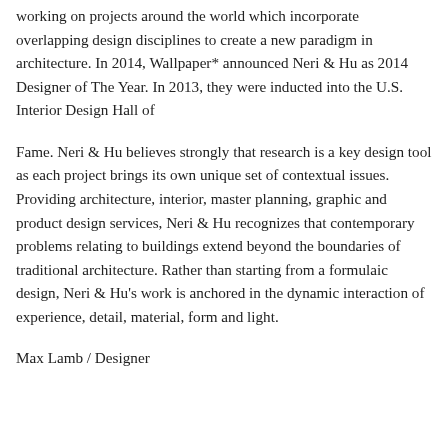working on projects around the world which incorporate overlapping design disciplines to create a new paradigm in architecture. In 2014, Wallpaper* announced Neri & Hu as 2014 Designer of The Year. In 2013, they were inducted into the U.S. Interior Design Hall of
Fame. Neri & Hu believes strongly that research is a key design tool as each project brings its own unique set of contextual issues. Providing architecture, interior, master planning, graphic and product design services, Neri & Hu recognizes that contemporary problems relating to buildings extend beyond the boundaries of traditional architecture. Rather than starting from a formulaic design, Neri & Hu's work is anchored in the dynamic interaction of experience, detail, material, form and light.
Max Lamb / Designer